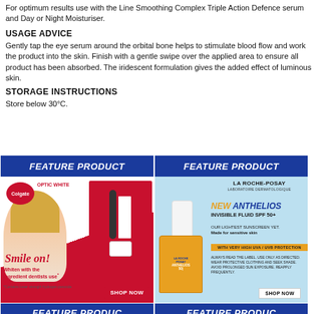For optimum results use with the Line Smoothing Complex Triple Action Defence serum and Day or Night Moisturiser.
USAGE ADVICE
Gently tap the eye serum around the orbital bone helps to stimulate blood flow and work the product into the skin. Finish with a gentle swipe over the applied area to ensure all product has been absorbed. The iridescent formulation gives the added effect of luminous skin.
STORAGE INSTRUCTIONS
Store below 30°C.
[Figure (photo): Feature Product banner for Colgate Optic White with Smile on! text showing a blonde woman and Colgate Optic White products, with Shop Now button]
[Figure (photo): Feature Product banner for La Roche-Posay Anthelios Invisible Fluid SPF 50+ sunscreen product advertisement with Shop Now button]